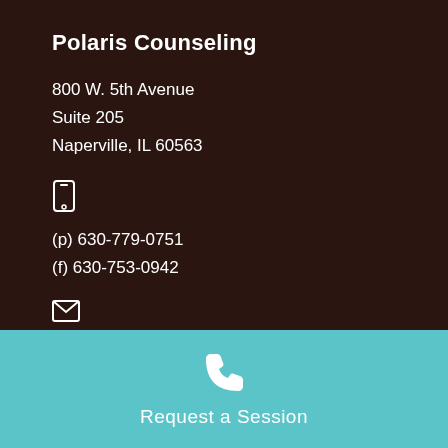Polaris Counseling
800 W. 5th Avenue
Suite 205
Naperville, IL 60563
[Figure (illustration): Mobile phone icon (outline)]
(p) 630-779-0751
(f) 630-753-0942
[Figure (illustration): Envelope/email icon (outline)]
contact@polariscounseling.com
[Figure (illustration): Phone handset icon in white on teal background]
Request a Session